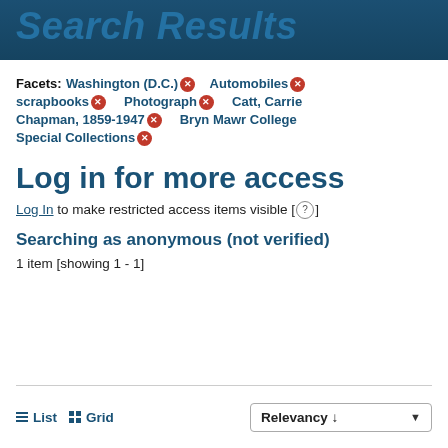Search Results
Facets: Washington (D.C.) × Automobiles × scrapbooks × Photograph × Catt, Carrie Chapman, 1859-1947 × Bryn Mawr College Special Collections ×
Log in for more access
Log In to make restricted access items visible [ ? ]
Searching as anonymous (not verified)
1 item [showing 1 - 1]
≡ List  ⊞ Grid   Relevancy ↓